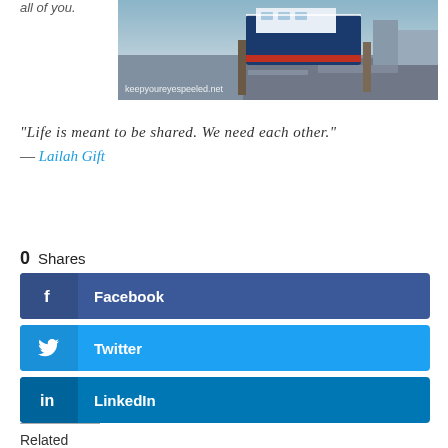all of you.
[Figure (photo): A dock scene with a blue and white boat moored at a waterfront. The image has a watermark reading 'keepyoureyespeeled.net'.]
“Life is meant to be shared. We need each other.”
— Lailah Gift
0 Shares
Facebook
Twitter
LinkedIn
Related